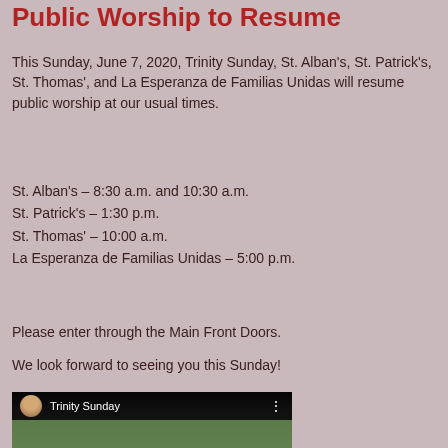Public Worship to Resume
This Sunday, June 7, 2020, Trinity Sunday, St. Alban's, St. Patrick's, St. Thomas', and La Esperanza de Familias Unidas will resume public worship at our usual times.
St. Alban's – 8:30 a.m. and 10:30 a.m.
St. Patrick's – 1:30 p.m.
St. Thomas' – 10:00 a.m.
La Esperanza de Familias Unidas – 5:00 p.m.
Please enter through the Main Front Doors.
We look forward to seeing you this Sunday!
[Figure (screenshot): YouTube video thumbnail for 'Trinity Sunday' showing a bald man outdoors with trees in background, with YouTube play button overlay and a circular avatar in the top-left corner of the video player.]